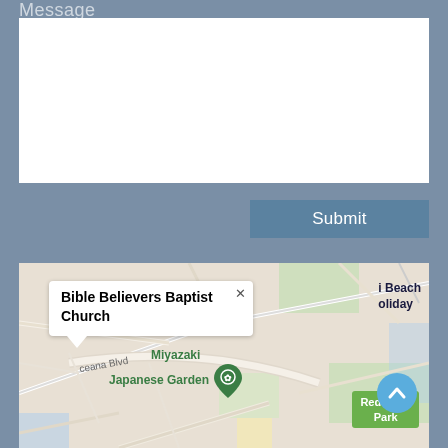Message
[Figure (screenshot): White text input textarea box for message entry]
Submit
[Figure (map): Google Maps screenshot showing Bible Believers Baptist Church popup pin, Miyazaki Japanese Garden, Red Wing Park, and Beach Holiday labels in Virginia Beach area]